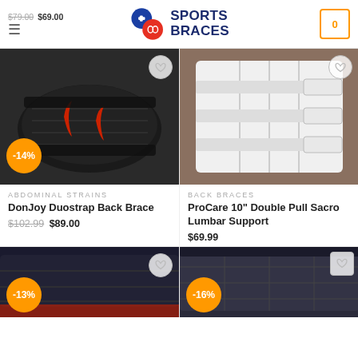Sports Braces — $79.00 $69.00 — Cart 0
[Figure (photo): DonJoy Duostrap Back Brace product photo — black back brace with red accents, -14% discount badge]
[Figure (photo): ProCare 10" Double Pull Sacro Lumbar Support product photo — white back brace worn by model]
ABDOMINAL STRAINS
DonJoy Duostrap Back Brace $102.99 $89.00
BACK BRACES
ProCare 10" Double Pull Sacro Lumbar Support $69.99
[Figure (photo): Back brace product photo — dark/black brace, -13% discount badge, partially visible]
[Figure (photo): Back brace product photo — dark brace with grey panels, -16% discount badge, partially visible]